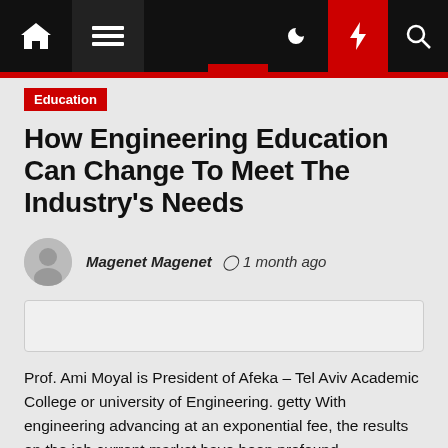[Figure (screenshot): Website navigation bar with home icon, hamburger menu, dark/light mode toggle, lightning bolt (breaking news) button, and search icon. Black background with red accent.]
Education
How Engineering Education Can Change To Meet The Industry's Needs
Magenet Magenet  1 month ago
[Figure (other): Advertisement placeholder box]
Prof. Ami Moyal is President of Afeka – Tel Aviv Academic College or university of Engineering. getty With engineering advancing at an exponential fee, the results on the job current market have been profound—particularly in STEM-oriented